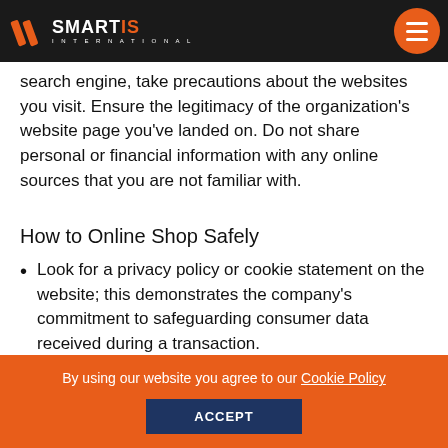SmartIS International — navigation header with logo and menu button
search engine, take precautions about the websites you visit. Ensure the legitimacy of the organization's website page you've landed on. Do not share personal or financial information with any online sources that you are not familiar with.
How to Online Shop Safely
Look for a privacy policy or cookie statement on the website; this demonstrates the company's commitment to safeguarding consumer data received during a transaction.
By using our website you agree to our Cookie Policy ACCEPT